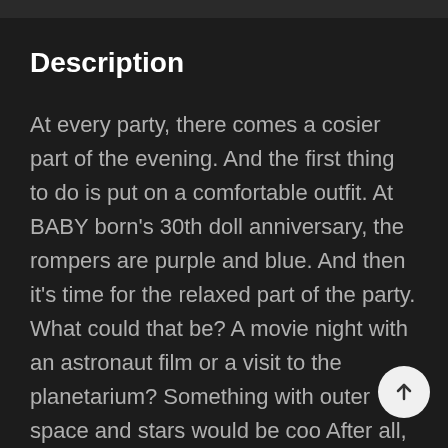Description
At every party, there comes a cosier part of the evening. And the first thing to do is put on a comfortable outfit. At BABY born's 30th doll anniversary, the rompers are purple and blue. And then it's time for the relaxed part of the party. What could that be? A movie night with an astronaut film or a visit to the planetarium? Something with outer space and stars would be cool. After all, the cosy rompers have